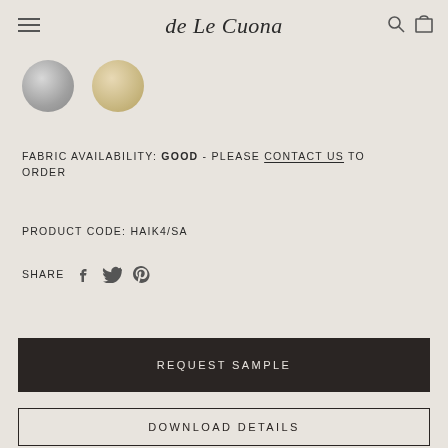de Le Cuona
[Figure (illustration): Two circular fabric swatches: one silver/grey and one sandy beige/gold]
FABRIC AVAILABILITY: GOOD - PLEASE CONTACT US TO ORDER
PRODUCT CODE: HAIK4/SA
SHARE
REQUEST SAMPLE
DOWNLOAD DETAILS